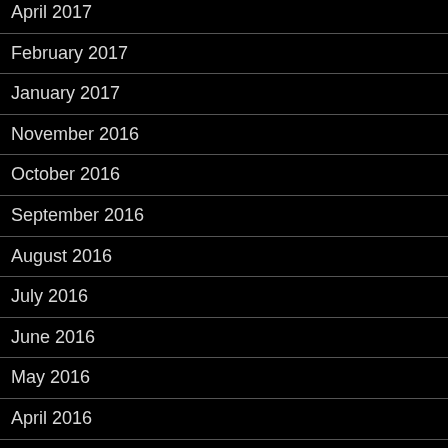April 2017
February 2017
January 2017
November 2016
October 2016
September 2016
August 2016
July 2016
June 2016
May 2016
April 2016
March 2016
February 2016